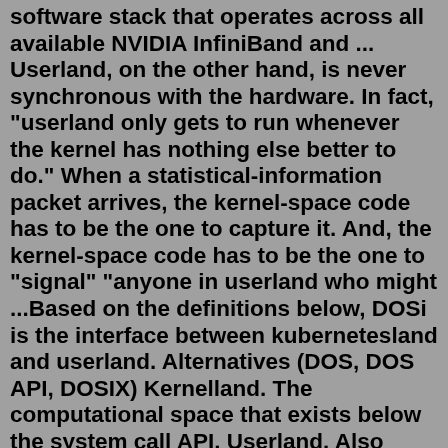software stack that operates across all available NVIDIA InfiniBand and ... Userland, on the other hand, is never synchronous with the hardware. In fact, "userland only gets to run whenever the kernel has nothing else better to do." When a statistical-information packet arrives, the kernel-space code has to be the one to capture it. And, the kernel-space code has to be the one to "signal" "anyone in userland who might ...Based on the definitions below, DOSi is the interface between kubernetesland and userland. Alternatives (DOS, DOS API, DOSIX) Kernelland. The computational space that exists below the system call API. Userland. Also known as userspace in the Linux community, this is the operating system layer in which humans can engage.May 29, 2014 · The program assumes that the i2c-dev and i2c_bcm2708 drivers are loaded in the kernel, and that /dev/i2c-1 (Raspberry Pi Model B, Rev. 2) is created by the drivers to interface with userland applications. Userland interfaces. The DRM core exports several interfaces to applications, generally intended to be